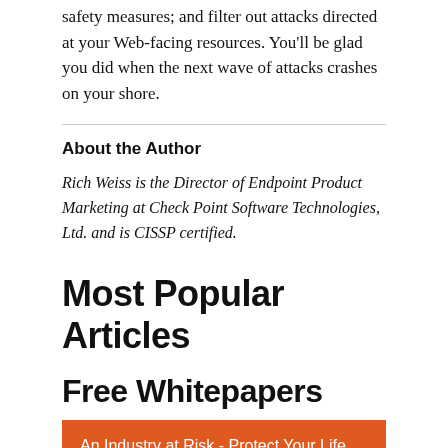safety measures; and filter out attacks directed at your Web-facing resources. You'll be glad you did when the next wave of attacks crashes on your shore.
About the Author
Rich Weiss is the Director of Endpoint Product Marketing at Check Point Software Technologies, Ltd. and is CISSP certified.
Most Popular Articles
Free Whitepapers
An Industry at Risk - Protect Your Life Sciences Company with a Digital Intelligence Strategy